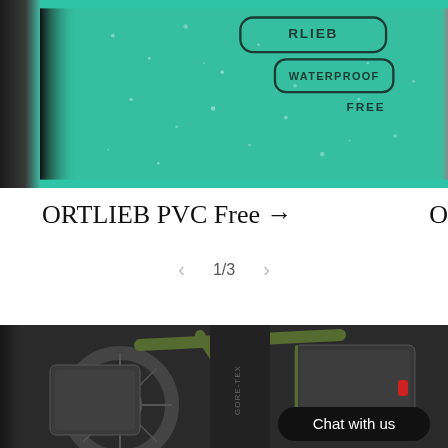[Figure (photo): Close-up photo of a teal/turquoise Ortlieb waterproof bag with 'WATERPROOF FREE' embossed badge and water droplets on the surface. Dark blurred area on the left side.]
ORTLIEB PVC Free →
O
< 1/3 >
[Figure (photo): Photo of a bicycle loaded with dark Ortlieb panniers/bags. A person wearing GORE-TEX pants is visible. A 'Chat with us' button overlay is in the lower right.]